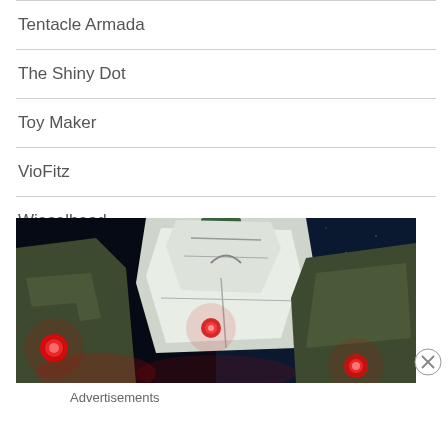Tentacle Armada
The Shiny Dot
Toy Maker
VioFitz
Wieselhead
[Figure (screenshot): Screenshot of an anime-style mecha robot in space with red glowing eyes/lights against a dark starfield background]
Advertisements